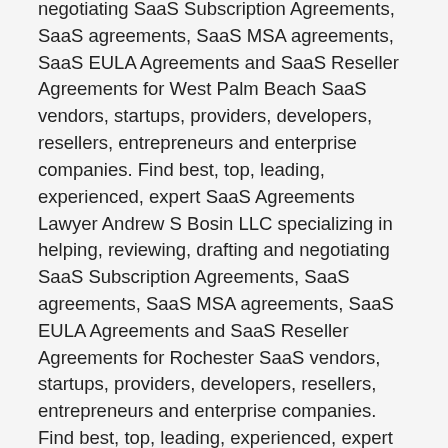negotiating SaaS Subscription Agreements, SaaS agreements, SaaS MSA agreements, SaaS EULA Agreements and SaaS Reseller Agreements for West Palm Beach SaaS vendors, startups, providers, developers, resellers, entrepreneurs and enterprise companies. Find best, top, leading, experienced, expert SaaS Agreements Lawyer Andrew S Bosin LLC specializing in helping, reviewing, drafting and negotiating SaaS Subscription Agreements, SaaS agreements, SaaS MSA agreements, SaaS EULA Agreements and SaaS Reseller Agreements for Rochester SaaS vendors, startups, providers, developers, resellers, entrepreneurs and enterprise companies. Find best, top, leading, experienced, expert SaaS Agreements Lawyer Andrew S Bosin LLC specializing in helping, reviewing, drafting and negotiating SaaS Subscription Agreements, SaaS agreements, SaaS MSA agreements, SaaS EULA Agreements and SaaS Reseller Agreements for Washington DC SaaS vendors, startups, providers,